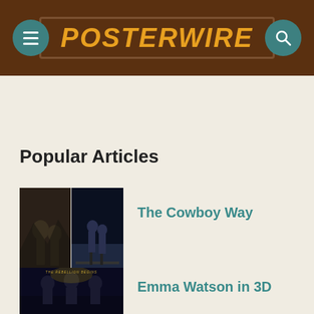POSTERWIRE
Popular Articles
[Figure (photo): Movie poster collage showing Brokeback Mountain and Titanic posters side by side]
The Cowboy Way
[Figure (photo): Harry Potter movie poster with text THE REBELLION BEGINS]
Emma Watson in 3D